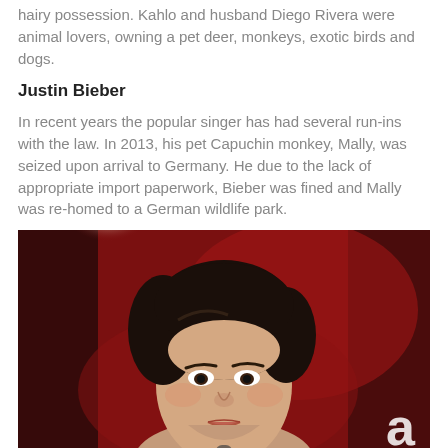hairy possession. Kahlo and husband Diego Rivera were animal lovers, owning a pet deer, monkeys, exotic birds and dogs.
Justin Bieber
In recent years the popular singer has had several run-ins with the law. In 2013, his pet Capuchin monkey, Mally, was seized upon arrival to Germany. He due to the lack of appropriate import paperwork, Bieber was fined and Mally was re-homed to a German wildlife park.
[Figure (photo): Portrait photo of a person with dark curly hair against a red and dark background with a bright stage light visible in the upper left]